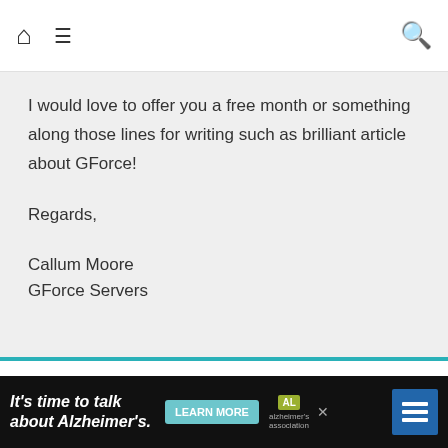Home | Menu | Search
I would love to offer you a free month or something along those lines for writing such as brilliant article about GForce!

Regards,

Callum Moore
GForce Servers
bishless
February 12, 2015 at 11:16 pm

Does GForce have a referral system in place? If so,
[Figure (other): Advertisement banner: 'It's time to talk about Alzheimer's.' with LEARN MORE button and Alzheimer's Association logo]